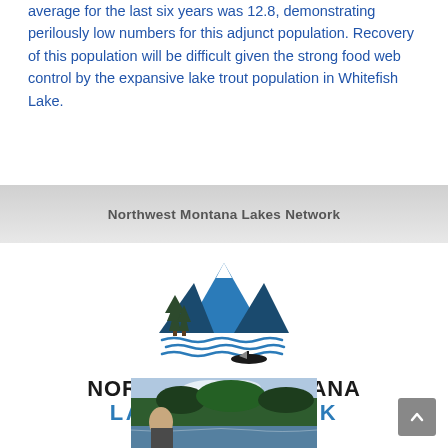average for the last six years was 12.8, demonstrating perilously low numbers for this adjunct population. Recovery of this population will be difficult given the strong food web control by the expansive lake trout population in Whitefish Lake.
Northwest Montana Lakes Network
[Figure (logo): Northwest Montana Lakes Network logo featuring pine trees and mountain peaks above blue waves with a small boat beneath, and bold text reading NORTHWEST MONTANA LAKES NETWORK]
[Figure (photo): Partial photo of a person outdoors near water with forested hills in background]